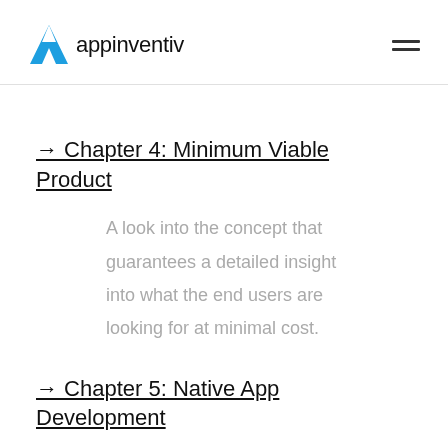appinventiv
→ Chapter 4: Minimum Viable Product
A look into the concept that guarantees a detailed insight into what the end users are looking for at minimal cost.
→ Chapter 5: Native App Development
Reasons that make investing in